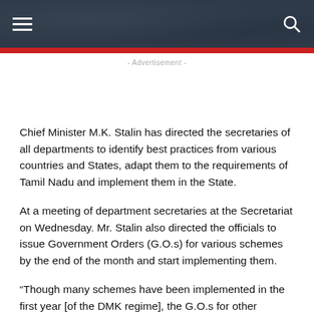Navigation header with hamburger menu and search icon
- Advertisement -
Chief Minister M.K. Stalin has directed the secretaries of all departments to identify best practices from various countries and States, adapt them to the requirements of Tamil Nadu and implement them in the State.
At a meeting of department secretaries at the Secretariat on Wednesday. Mr. Stalin also directed the officials to issue Government Orders (G.O.s) for various schemes by the end of the month and start implementing them.
“Though many schemes have been implemented in the first year [of the DMK regime], the G.O.s for other schemes have to be